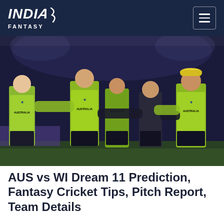INDIA FANTASY
[Figure (photo): Australian cricket team players in yellow and black T20 uniforms with 'AUSTRALIA' text, gathered together on a cricket field at night under stadium lights]
AUS vs WI Dream 11 Prediction, Fantasy Cricket Tips, Pitch Report, Team Details